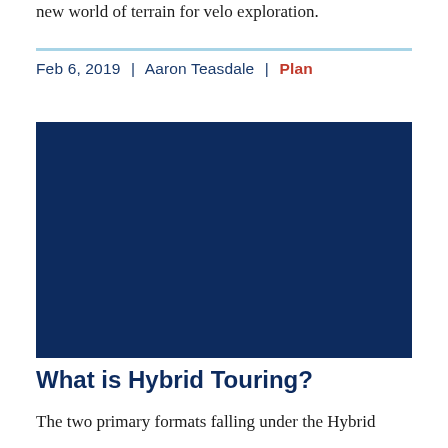new world of terrain for velo exploration.
Feb 6, 2019 | Aaron Teasdale | Plan
[Figure (photo): Large dark navy blue rectangular image placeholder]
What is Hybrid Touring?
The two primary formats falling under the Hybrid touring umbrella, bikepacking and panniers, are